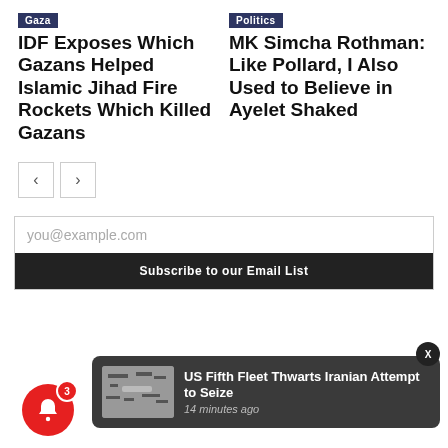Gaza
IDF Exposes Which Gazans Helped Islamic Jihad Fire Rockets Which Killed Gazans
Politics
MK Simcha Rothman: Like Pollard, I Also Used to Believe in Ayelet Shaked
you@example.com
Subscribe to our Email List
[Figure (screenshot): Notification popup: US Fifth Fleet Thwarts Iranian Attempt to Seize, 14 minutes ago, with thumbnail image and bell icon with count 3]
US Fifth Fleet Thwarts Iranian Attempt to Seize
14 minutes ago